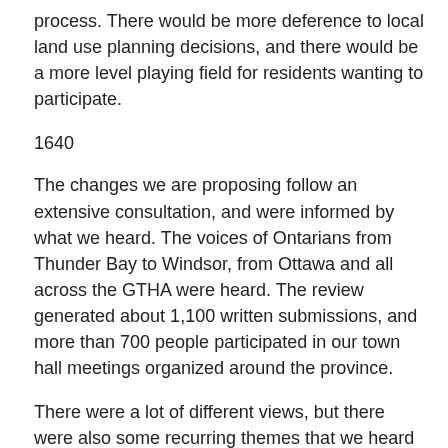process. There would be more deference to local land use planning decisions, and there would be a more level playing field for residents wanting to participate.
1640
The changes we are proposing follow an extensive consultation, and were informed by what we heard. The voices of Ontarians from Thunder Bay to Windsor, from Ottawa and all across the GTHA were heard. The review generated about 1,100 written submissions, and more than 700 people participated in our town hall meetings organized around the province.
There were a lot of different views, but there were also some recurring themes that we heard loud and clear from a wide array of stakeholders and the broader public: the need for more community involvement, a more meaningful voice for residents in the process, more local control over planning decisions, fewer hearings and a more